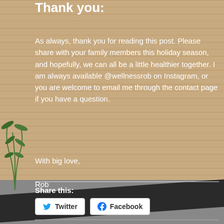Thank you:
As always, thank you for reading this post. Please share with your family members this holiday season, and hopefully, we can all be a little healthier together. I am always available @wellnessrob on Instagram, or you are welcome to email me through the contact page if you have a question.
With big love,

Rob
Share this:
Twitter  Facebook